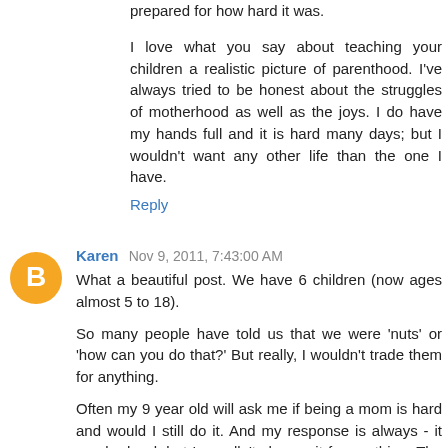prepared for how hard it was.

I love what you say about teaching your children a realistic picture of parenthood. I've always tried to be honest about the struggles of motherhood as well as the joys. I do have my hands full and it is hard many days; but I wouldn't want any other life than the one I have.
Reply
[Figure (logo): Orange circular Blogger avatar icon with white 'B' letter]
Karen  Nov 9, 2011, 7:43:00 AM
What a beautiful post. We have 6 children (now ages almost 5 to 18).

So many people have told us that we were 'nuts' or 'how can you do that?' But really, I wouldn't trade them for anything.

Often my 9 year old will ask me if being a mom is hard and would I still do it. And my response is always - it can be hard, but I woudln't change it for anything. The benifits outweigh the difficulty and stress.